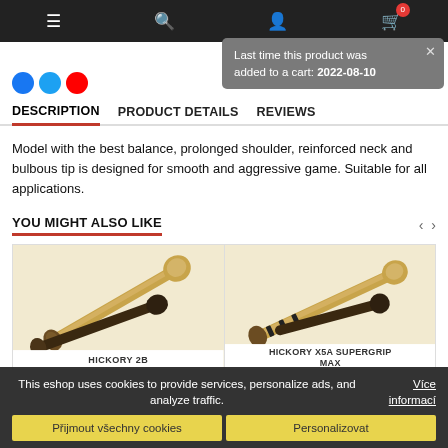Navigation bar with menu, search, profile, and cart icons
Last time this product was added to a cart: 2022-08-10
[Figure (screenshot): Social media share icons: Facebook (blue), Twitter (light blue), YouTube (red)]
DESCRIPTION | PRODUCT DETAILS | REVIEWS
Model with the best balance, prolonged shoulder, reinforced neck and bulbous tip is designed for smooth and aggressive game. Suitable for all applications.
YOU MIGHT ALSO LIKE
[Figure (photo): Drumstick product image: HICKORY 2B]
HICKORY 2B
[Figure (photo): Drumstick product image: HICKORY X5A SUPERGRIP MAX]
HICKORY X5A SUPERGRIP MAX
This eshop uses cookies to provide services, personalize ads, and analyze traffic.
Více informací
Přijmout všechny cookies
Personalizovat